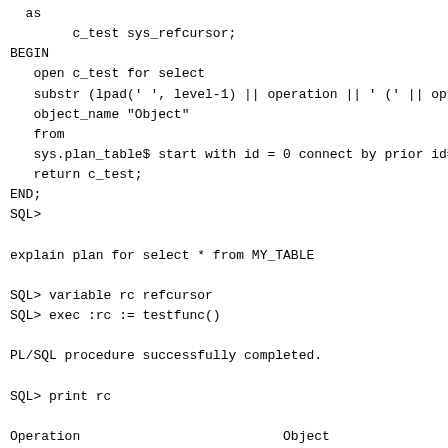as
        c_test sys_refcursor;
BEGIN
   open c_test for select
   substr (lpad(' ', level-1) || operation || ' (' || opti
   object_name "Object"
   from
   sys.plan_table$ start with id = 0 connect by prior id=p
   return c_test;
END;
SQL>

explain plan for select * from MY_TABLE

SQL> variable rc refcursor
SQL> exec :rc := testfunc()

PL/SQL procedure successfully completed.

SQL> print rc

Operation                          Object